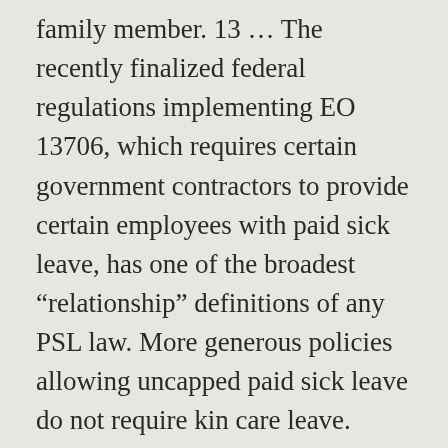family member. 13 … The recently finalized federal regulations implementing EO 13706, which requires certain government contractors to provide certain employees with paid sick leave, has one of the broadest “relationship” definitions of any PSL law. More generous policies allowing uncapped paid sick leave do not require kin care leave. Write CSS OR LESS and hit save. In its recent decision in McCarther v. Pacific Telesis Group, Opinion No. Kin Care allows employees to take time off to care for a family member’s illness or treatment. This allows employees to use up to half of their sick leave for specific family members as defined by California law. Calculation: Full time employee accrues 8